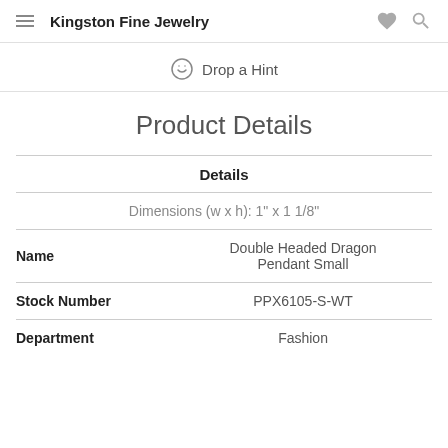Kingston Fine Jewelry
Drop a Hint
Product Details
Details
Dimensions (w x h): 1" x 1 1/8"
|  |  |
| --- | --- |
| Name | Double Headed Dragon Pendant Small |
| Stock Number | PPX6105-S-WT |
| Department | Fashion |